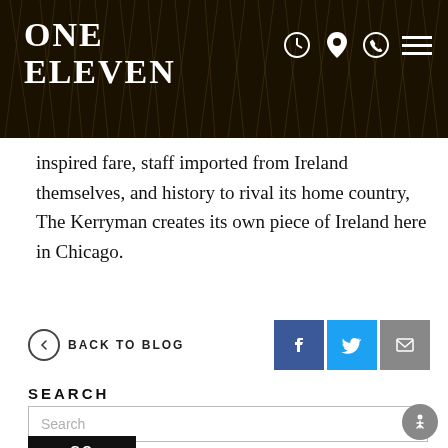ONE ELEVEN
inspired fare, staff imported from Ireland themselves, and history to rival its home country, The Kerryman creates its own piece of Ireland here in Chicago.
← BACK TO BLOG
SEARCH
Search
GO
NEW TITLE